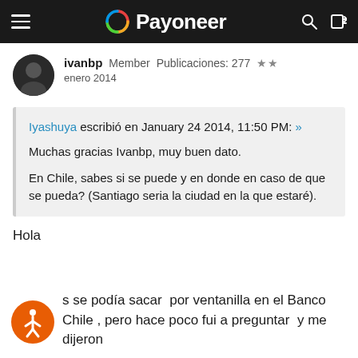Payoneer
ivanbp  Member  Publicaciones: 277  ★★
enero 2014
Iyashuya escribió en January 24 2014, 11:50 PM: »

Muchas gracias Ivanbp, muy buen dato.

En Chile, sabes si se puede y en donde en caso de que se pueda? (Santiago seria la ciudad en la que estaré).
Hola
s se podía sacar  por ventanilla en el Banco Chile , pero hace poco fui a preguntar  y me dijeron